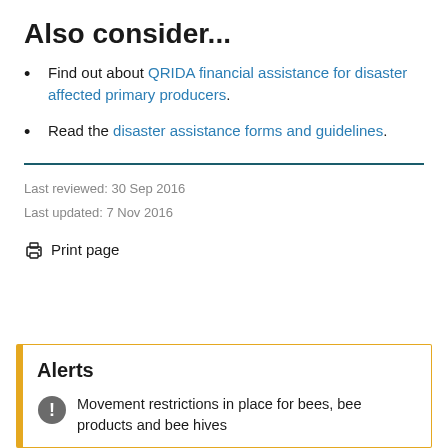Also consider...
Find out about QRIDA financial assistance for disaster affected primary producers.
Read the disaster assistance forms and guidelines.
Last reviewed: 30 Sep 2016
Last updated: 7 Nov 2016
Print page
Alerts
Movement restrictions in place for bees, bee products and bee hives